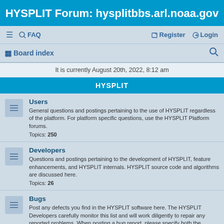HYSPLIT Forum: hysplitbbs.arl.noaa.gov
≡  FAQ    Register  Login
Board index  [search icon]
It is currently August 20th, 2022, 8:12 am
HYSPLIT
Users
General questions and postings pertaining to the use of HYSPLIT regardless of the platform. For platform specific questions, use the HYSPLIT Platform forums.
Topics: 250
Developers
Questions and postings pertaining to the development of HYSPLIT, feature enhancements, and HYSPLIT internals. HYSPLIT source code and algorithms are discussed here.
Topics: 26
Bugs
Post any defects you find in the HYSPLIT software here. The HYSPLIT Developers carefully monitor this list and will work diligently to repair any reported problems. When posting a bug report, please specify both the HYSPLIT version and operating system you are using.
Topics: 52
Announce
Announcements pertaining to HYSPLIT, training materials, dispersion related jobs or research positions, or related software. This list is moderated and will